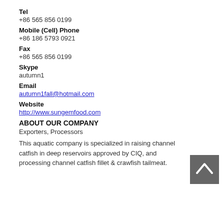Tel
+86 565 856 0199
Mobile (Cell) Phone
+86 186 5793 0921
Fax
+86 565 856 0199
Skype
autumn1
Email
autumn1fall@hotmail.com
Website
http://www.sungemfood.com
ABOUT OUR COMPANY
Exporters, Processors
This aquatic company is specialized in raising channel catfish in deep reservoirs approved by CIQ, and processing channel catfish fillet & crawfish tailmeat.
[Figure (other): Back to top button — grey square with upward-pointing chevron/arrow]